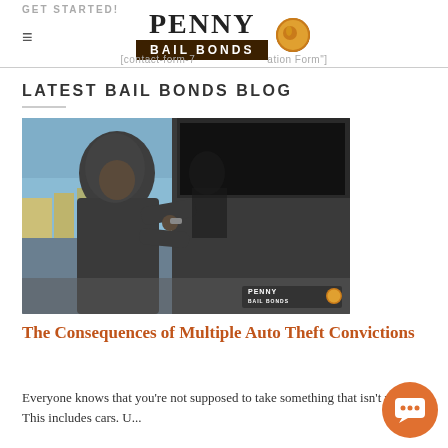GET STARTED! | PENNY BAIL BONDS | [contact-form-7 ... ation Form"]
LATEST BAIL BONDS BLOG
[Figure (photo): A person in a dark hoodie crouching beside a dark car door, appearing to pick the lock. The Penny Bail Bonds logo watermark is in the bottom right corner.]
The Consequences of Multiple Auto Theft Convictions
Everyone knows that you're not supposed to take something that isn't yours. This includes cars. U...